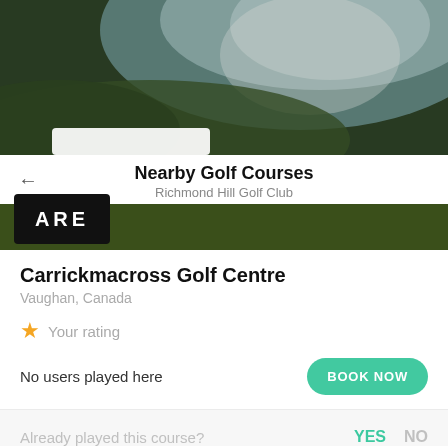[Figure (photo): Blurred hero image of a golf course with green grass and sky in the background]
Nearby Golf Courses
Richmond Hill Golf Club
[Figure (logo): ARE logo in white text on black background, partially visible above a dark olive green banner]
Carrickmacross Golf Centre
Vaughan, Canada
★ Your rating
No users played here
BOOK NOW
Already played this course?
YES  NO